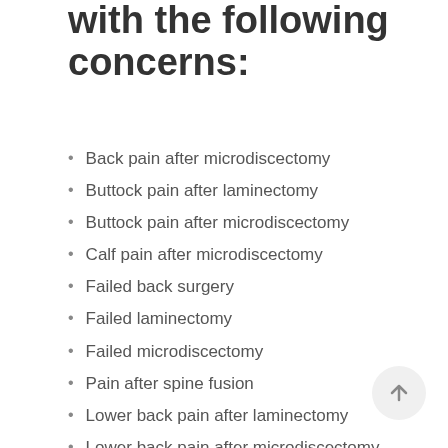with the following concerns:
Back pain after microdiscectomy
Buttock pain after laminectomy
Buttock pain after microdiscectomy
Calf pain after microdiscectomy
Failed back surgery
Failed laminectomy
Failed microdiscectomy
Pain after spine fusion
Lower back pain after laminectomy
Lower back pain after microdiscectomy
Failed spinal hardware or instrumentation
Non-union of spinal fusion